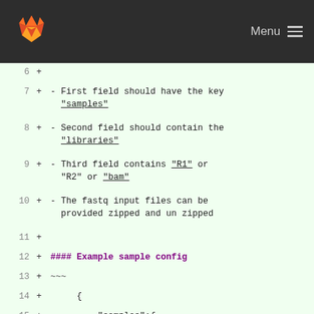GitLab Menu
6  +
7  + - First field should have the key __"samples"__
8  + - Second field should contain the __"libraries"__
9  + - Third field contains __"R1" or "R2"__ or __"bam"__
10 + - The fastq input files can be provided zipped and un zipped
11 +
12 + #### Example sample config
13 + ~~~
14 +     {
15 +         "samples":{
16 +             "Sample_ID1":{
17 +                 "libraries":{
18 +                     "MySeries_1":{
19 +
20 +                     "R1":"Youre_R1.fastq.gz",
20 +